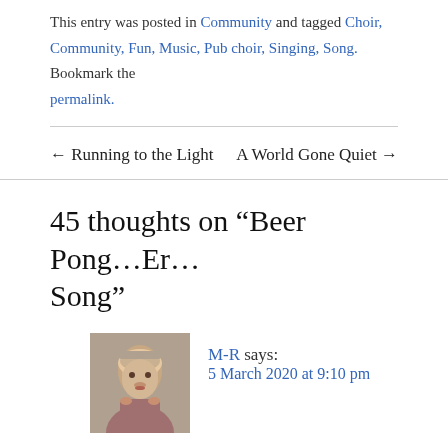This entry was posted in Community and tagged Choir, Community, Fun, Music, Pub choir, Singing, Song. Bookmark the permalink.
← Running to the Light
A World Gone Quiet →
45 thoughts on “Beer Pong…Er… Song”
M-R says:
5 March 2020 at 9:10 pm
Not only have I never been to a pub choir event, but I have never heard that song in